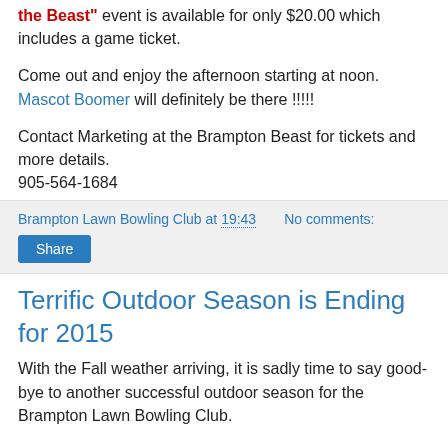"the Beast" event is available for only $20.00 which includes a game ticket.
Come out and enjoy the afternoon starting at noon. Mascot Boomer will definitely be there !!!!!
Contact Marketing at the Brampton Beast for tickets and more details.
905-564-1684
Brampton Lawn Bowling Club at 19:43    No comments:
Share
Terrific Outdoor Season is Ending for 2015
With the Fall weather arriving, it is sadly time to say goodbye to another successful outdoor season for the Brampton Lawn Bowling Club.